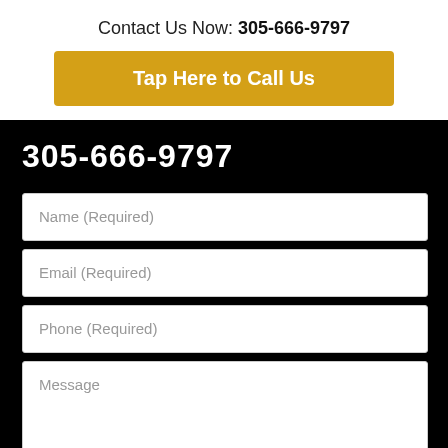Contact Us Now: 305-666-9797
Tap Here to Call Us
305-666-9797
Name (Required)
Email (Required)
Phone (Required)
Message